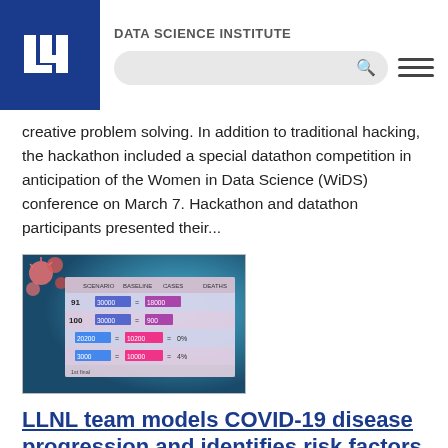DATA SCIENCE INSTITUTE
creative problem solving. In addition to traditional hacking, the hackathon included a special datathon competition in anticipation of the Women in Data Science (WiDS) conference on March 7. Hackathon and datathon participants presented their...
[Figure (photo): Screenshot of a COVID-19 disease progression model visualization overlaid on a microscopy image of virus particles, showing a table with numerical data and colored cells on a teal/blue background.]
LLNL team models COVID-19 disease progression and identifies risk factors
Feb. 15, 2022 - An LLNL team has developed a comprehensive dynamic model of COVID-19 disease progression in hospitalized patients, finding that risk factors for